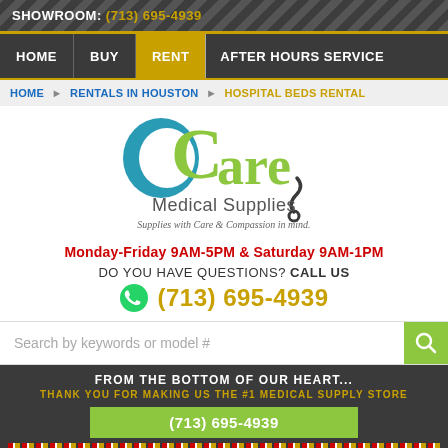SHOWROOM: (713) 695-4939
HOME
BUY
RENT
AFTER HOURS SERVICE
HOME ▶ RENTALS IN HOUSTON ▶ HOSPITAL BEDS RENTAL
[Figure (logo): eCare Medical Supplies logo with stethoscope graphic and tagline: Supplies with Care & Compassion in mind.]
Monday-Friday 9AM-5PM & Saturday 9AM-1PM
DO YOU HAVE QUESTIONS? CALL US
(713) 695-4939
Search by keywords or model #
FROM THE BOTTOM OF OUR HEART...
THANK YOU FOR MAKING US THE #1 MEDICAL SUPPLY STORE
(713) 695-4939